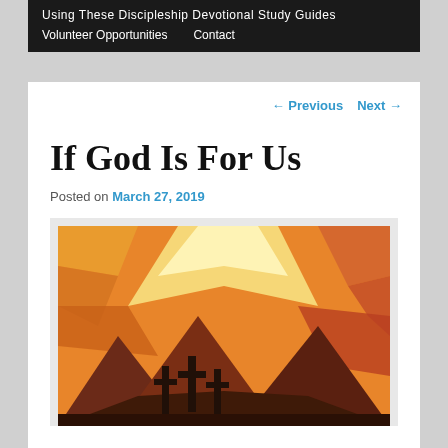Using These Discipleship Devotional Study Guides
Volunteer Opportunities    Contact
← Previous   Next →
If God Is For Us
Posted on March 27, 2019
[Figure (illustration): Low-poly style illustration of three crosses on a hill against a warm orange and yellow sunset sky with mountain silhouettes]